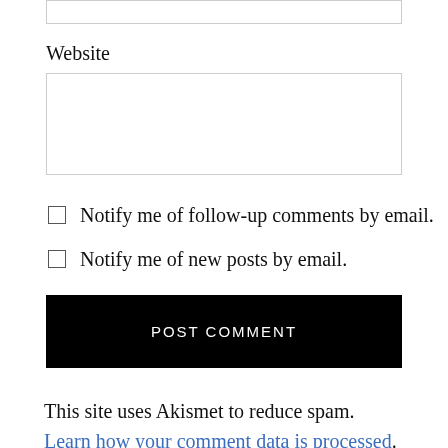Website
Notify me of follow-up comments by email.
Notify me of new posts by email.
POST COMMENT
This site uses Akismet to reduce spam. Learn how your comment data is processed.